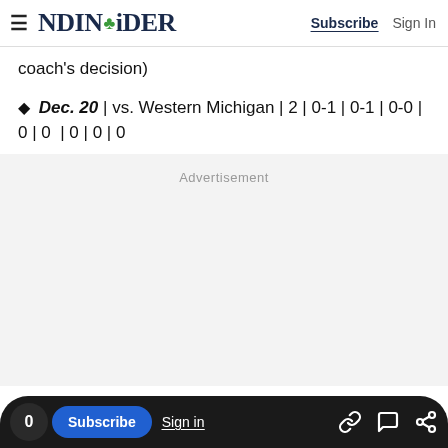NDINSiDER | Subscribe | Sign In
coach's decision)
♦ Dec. 20 | vs. Western Michigan | 2 | 0-1 | 0-1 | 0-0 | 0 | 0 | 0 | 0 | 0
Advertisement
0  Subscribe  Sign in  [link icon] [comment icon] [share icon]